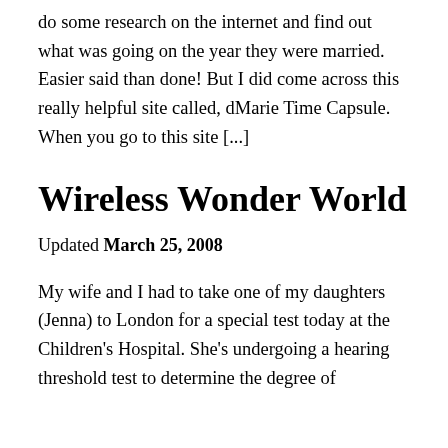do some research on the internet and find out what was going on the year they were married. Easier said than done! But I did come across this really helpful site called, dMarie Time Capsule. When you go to this site [...]
Wireless Wonder World
Updated March 25, 2008
My wife and I had to take one of my daughters (Jenna) to London for a special test today at the Children's Hospital. She's undergoing a hearing threshold test to determine the degree of